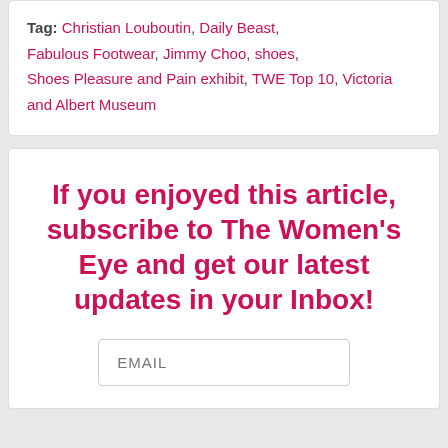Tag: Christian Louboutin, Daily Beast, Fabulous Footwear, Jimmy Choo, shoes, Shoes Pleasure and Pain exhibit, TWE Top 10, Victoria and Albert Museum
If you enjoyed this article, subscribe to The Women's Eye and get our latest updates in your Inbox!